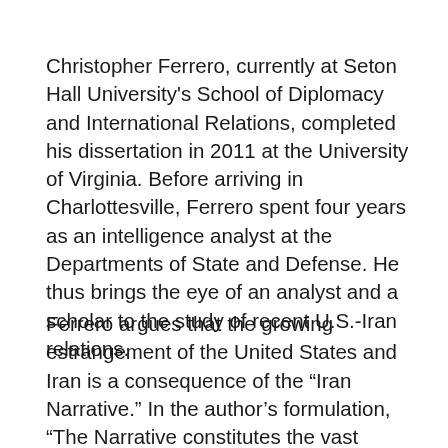Christopher Ferrero, currently at Seton Hall University's School of Diplomacy and International Relations, completed his dissertation in 2011 at the University of Virginia. Before arriving in Charlottesville, Ferrero spent four years as an intelligence analyst at the Departments of State and Defense. He thus brings the eye of an analyst and a scholar to the study of recent U.S.-Iran relations.
Ferrero argues that the growing estrangement of the United States and Iran is a consequence of the “Iran Narrative.” In the author’s formulation, “The Narrative constitutes the vast collection of frames, themes, myths, caricatures, news reports, ‘expert’